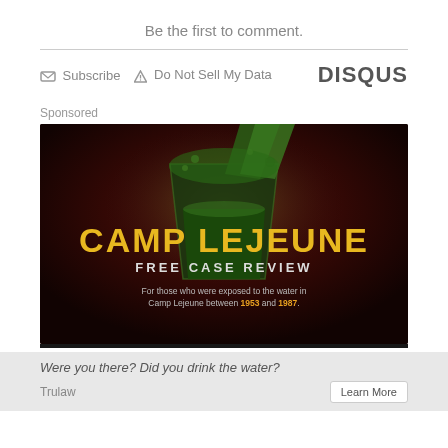Be the first to comment.
Subscribe  Do Not Sell My Data  DISQUS
Sponsored
[Figure (photo): Camp Lejeune Free Case Review advertisement image. Dark background with green liquid pouring into a glass. Large yellow text reads 'CAMP LEJEUNE' and below it 'FREE CASE REVIEW'. Bottom text: 'For those who were exposed to the water in Camp Lejeune between 1953 and 1987.']
Were you there? Did you drink the water?
Trulaw
Learn More